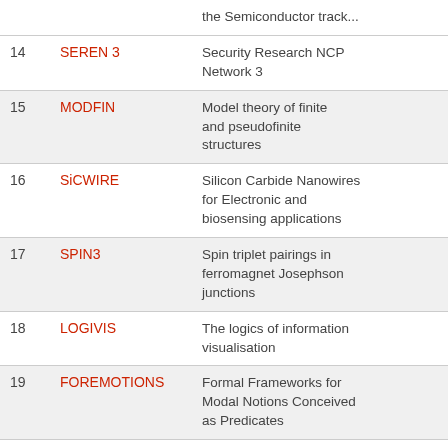| # | Code | Description |
| --- | --- | --- |
|  |  | the Semiconductor track... |
| 14 | SEREN 3 | Security Research NCP Network 3 |
| 15 | MODFIN | Model theory of finite and pseudofinite structures |
| 16 | SiCWIRE | Silicon Carbide Nanowires for Electronic and biosensing applications |
| 17 | SPIN3 | Spin triplet pairings in ferromagnet Josephson junctions |
| 18 | LOGIVIS | The logics of information visualisation |
| 19 | FOREMOTIONS | Formal Frameworks for Modal Notions Conceived as Predicates |